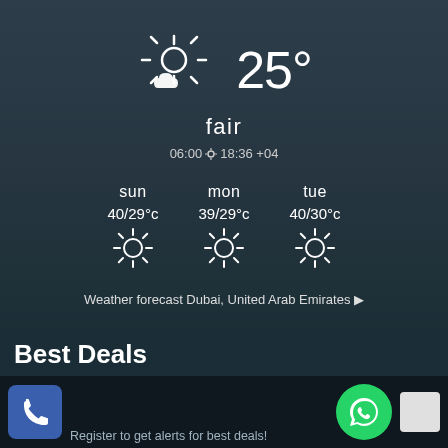[Figure (screenshot): Weather widget showing partly cloudy with sun icon, 25° temperature, condition 'fair', sunrise 06:00 sunset 18:36 +04 timezone]
25°
fair
06:00☀18:36 +04
sun
40/29°c
mon
39/29°c
tue
40/30°c
Weather forecast Dubai, United Arab Emirates ▶
Best Deals
Register to get alerts for best deals!